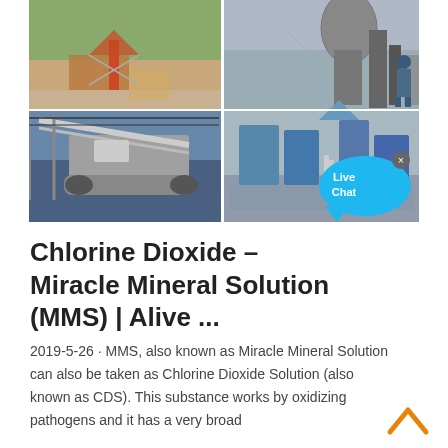[Figure (photo): A 2x2 grid of industrial/mining site photos. Top-left: outdoor mining site with orange machinery and green hills. Top-right: industrial plant with large silo and worker. Bottom-left: conveyor belt system with large tracked vehicle. Bottom-right: industrial crushing/processing equipment with Live Chat bubble overlay.]
Chlorine Dioxide – Miracle Mineral Solution (MMS) | Alive ...
2019-5-26 · MMS, also known as Miracle Mineral Solution can also be taken as Chlorine Dioxide Solution (also known as CDS). This substance works by oxidizing pathogens and it has a very broad